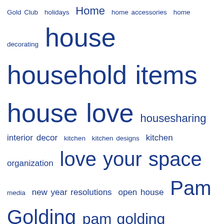[Figure (other): Tag cloud with various real estate and home-related tags in varying sizes, all in dark blue color. Tags include: Gold Club, holidays, Home, home accessories, home decorating, house, household items, house love, housesharing, interior decor, kitchen, kitchen designs, kitchen organization, love your space, media, new year resolutions, open house, Pam Golding, pam golding commercial, pam golding kenya, pam golding kenya agents, Pam Golding Properties, pam golding properties kenya, PGP, Pgp Karen, PGP Kenya, Property, property blog, property insights, property tips, real estate agents, remodelling, rent, saving, Services, small rooms design]
Recent Posts
New Year Resolutions for your Home
Five things we love about being in Real Estate
Meet The Faces of Our Live Remarkable Campaign